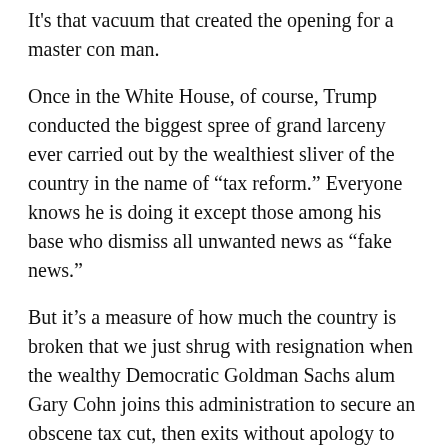It's that vacuum that created the opening for a master con man.
Once in the White House, of course, Trump conducted the biggest spree of grand larceny ever carried out by the wealthiest sliver of the country in the name of “tax reform.” Everyone knows he is doing it except those among his base who dismiss all unwanted news as “fake news.”
But it’s a measure of how much the country is broken that we just shrug with resignation when the wealthy Democratic Goldman Sachs alum Gary Cohn joins this administration to secure an obscene tax cut, then exits without apology to enjoy his further enrichment at the expense of the safety net for the country’s most vulnerable citizens.